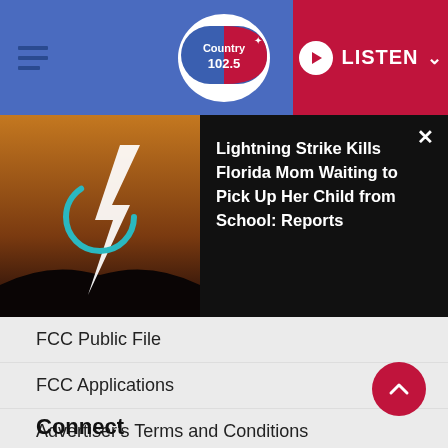Country 102.5 | LISTEN
[Figure (screenshot): Video thumbnail showing lightning strike with loading spinner overlay, next to article title 'Lightning Strike Kills Florida Mom Waiting to Pick Up Her Child from School: Reports' on black background]
FCC Public File
FCC Applications
Advertiser's Terms and Conditions
General Contest Rules
Archived Contest Rules
Connect